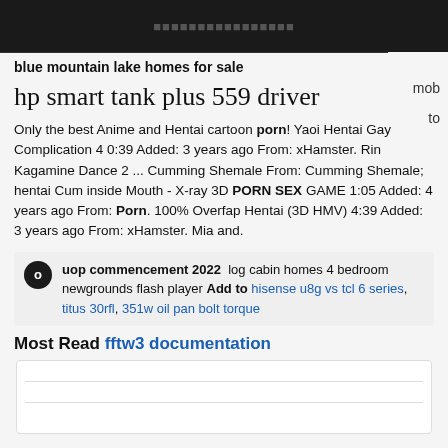to
blue mountain lake homes for sale
mob
hp smart tank plus 559 driver
Only the best Anime and Hentai cartoon porn! Yaoi Hentai Gay Complication 4 0:39 Added: 3 years ago From: xHamster. Rin Kagamine Dance 2 ... Cumming Shemale From: Cumming Shemale; hentai Cum inside Mouth - X-ray 3D PORN SEX GAME 1:05 Added: 4 years ago From: Porn. 100% Overfap Hentai (3D HMV) 4:39 Added: 3 years ago From: xHamster. Mia and.
uop commencement 2022 log cabin homes 4 bedroom newgrounds flash player Add to hisense u8g vs tcl 6 series, titus 30rfl, 351w oil pan bolt torque
Most Read fftw3 documentation